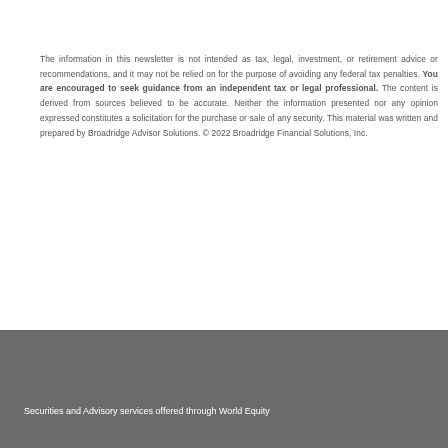The information in this newsletter is not intended as tax, legal, investment, or retirement advice or recommendations, and it may not be relied on for the purpose of avoiding any federal tax penalties. You are encouraged to seek guidance from an independent tax or legal professional. The content is derived from sources believed to be accurate. Neither the information presented nor any opinion expressed constitutes a solicitation for the purchase or sale of any security. This material was written and prepared by Broadridge Advisor Solutions. © 2022 Broadridge Financial Solutions, Inc.
Securities and Advisory services offered through World Equity